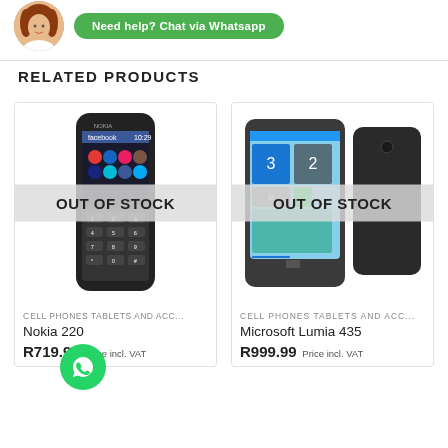[Figure (screenshot): Top banner with a woman's portrait photo and a green WhatsApp chat button reading 'Need help? Chat via Whatsapp']
RELATED PRODUCTS
[Figure (photo): Nokia 220 phone product image with OUT OF STOCK overlay]
CELL PHONES TABLETS AND ACC...
Nokia 220
R719.99 Price incl. VAT
[Figure (photo): Microsoft Lumia 435 phone product image with OUT OF STOCK overlay]
CELL PHONES TABLETS AND ACC...
Microsoft Lumia 435
R999.99 Price incl. VAT
[Figure (logo): WhatsApp floating chat button (green circle with WhatsApp icon)]